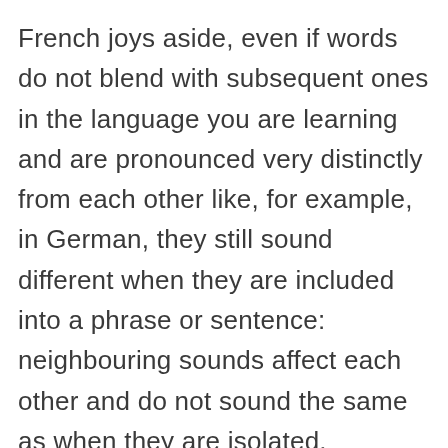French joys aside, even if words do not blend with subsequent ones in the language you are learning and are pronounced very distinctly from each other like, for example, in German, they still sound different when they are included into a phrase or sentence: neighbouring sounds affect each other and do not sound the same as when they are isolated. Assimilation, reduction, insertion, all sorts of phonetic wonders happen there. You don't even want to know if you are not a linguist. On top of it, intonation comes into play and some more meaningful words are stressed while others, especially auxiliary ones,